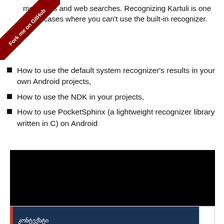messages and web searches. Recognizing Kartuli is one of the cases where you can't use the built-in recognizer.
How to use the default system recognizer's results in your own Android projects,
How to use the NDK in your projects,
How to use PocketSphinx (a lightweight recognizer library written in C) on Android
[Figure (screenshot): A video player (black rectangle) showing a presentation. Below it is a slide preview with dark navy background and red left border showing Georgian text (კონტექსტი). At the bottom is a partial view of a language map of the Caucasus.]